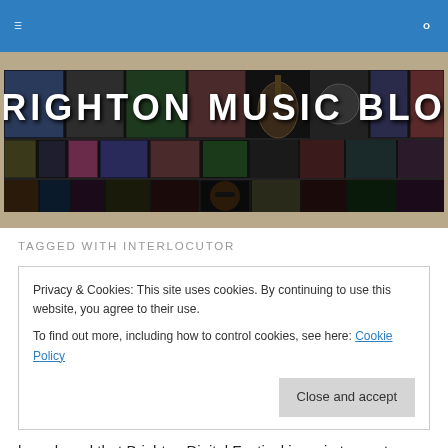Brighton Music Blog – navigation bar with menu and search icons
[Figure (photo): Brighton Music Blog banner image: collage of live music performance photos arranged in a grid with text 'BRIGHTON MUSIC BLOG' overlaid in white grunge font on a black background]
TAGGED WITH INTERLOCUTOR
Privacy & Cookies: This site uses cookies. By continuing to use this website, you agree to their use.
To find out more, including how to control cookies, see here: Cookie Policy
[Close and accept button]
have heard that Brighton Digital Festival is on in town at